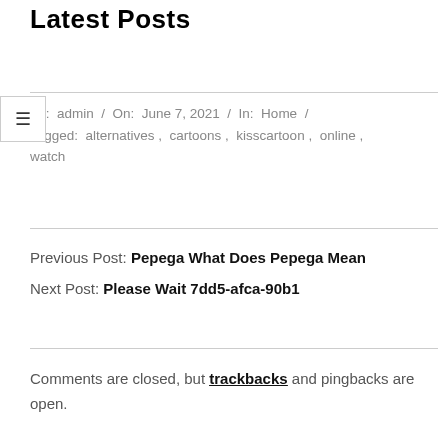Latest Posts
By: admin / On: June 7, 2021 / In: Home / Tagged: alternatives, cartoons, kisscartoon, online, watch
Previous Post: Pepega What Does Pepega Mean
Next Post: Please Wait 7dd5-afca-90b1
Comments are closed, but trackbacks and pingbacks are open.